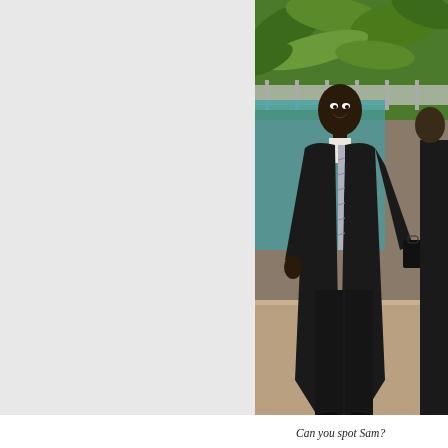[Figure (photo): A tall man in a dark suit with a striped tie stands smiling outdoors near a swimming pool, with tropical plants and a fence visible in the background. A second person is partially visible on the right edge.]
Can you spot Sam?